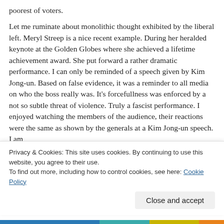poorest of voters.

Let me ruminate about monolithic thought exhibited by the liberal left. Meryl Streep is a nice recent example. During her heralded keynote at the Golden Globes where she achieved a lifetime achievement award. She put forward a rather dramatic performance. I can only be reminded of a speech given by Kim Jong-un. Based on false evidence, it was a reminder to all media on who the boss really was. It’s forcefullness was enforced by a not so subtle threat of violence. Truly a fascist performance. I enjoyed watching the members of the audience, their reactions were the same as shown by the generals at a Kim Jong-un speech. I am
Privacy & Cookies: This site uses cookies. By continuing to use this website, you agree to their use.
To find out more, including how to control cookies, see here: Cookie Policy
Close and accept